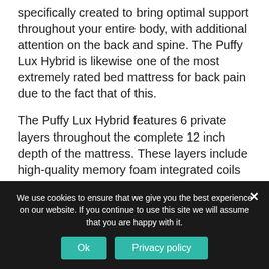specifically created to bring optimal support throughout your entire body, with additional attention on the back and spine. The Puffy Lux Hybrid is likewise one of the most extremely rated bed mattress for back pain due to the fact that of this.
The Puffy Lux Hybrid features 6 private layers throughout the complete 12 inch depth of the mattress. These layers include high-quality memory foam integrated coils that are specially designed to adapt to the distinct contours of your body. These coils
We use cookies to ensure that we give you the best experience on our website. If you continue to use this site we will assume that you are happy with it.